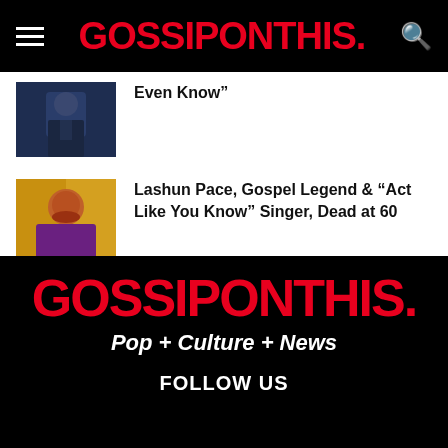GOSSIPONTHIS.
Even Know”
Lashun Pace, Gospel Legend & “Act Like You Know” Singer, Dead at 60
GOSSIPONTHIS. Pop + Culture + News FOLLOW US